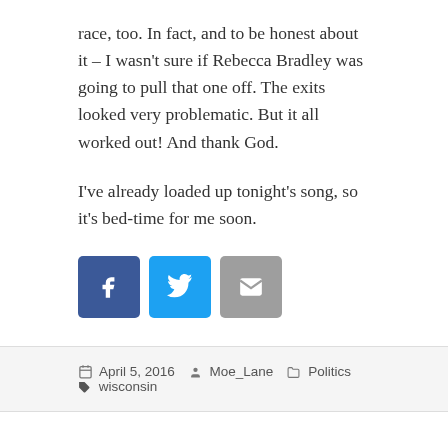race, too. In fact, and to be honest about it – I wasn't sure if Rebecca Bradley was going to pull that one off. The exits looked very problematic. But it all worked out! And thank God.
I've already loaded up tonight's song, so it's bed-time for me soon.
[Figure (infographic): Three social share buttons: Facebook (dark blue), Twitter (light blue), Email (gray)]
April 5, 2016  Moe_Lane  Politics  wisconsin
This is everything I expected in a Wisconsin concession statement.